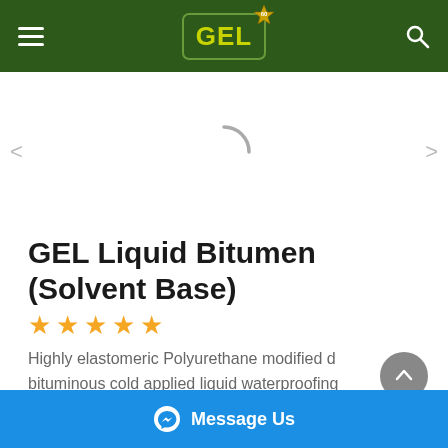GEL (logo) — navigation header
[Figure (photo): Product image area with loading spinner arc, left and right navigation arrows]
GEL Liquid Bitumen (Solvent Base)
★★★★★ (5 stars)
Highly elastomeric Polyurethane modified d bituminous cold applied liquid waterproofing membrane
Message Us